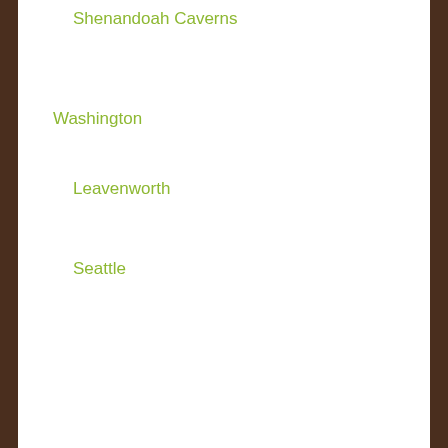Shenandoah Caverns
Washington
Leavenworth
Seattle
Recent Posts
Puerto Rico – The Island of Enchantment/Isla Del Encanto
Guatemala City – The largest city in Central America
What to Consider When Buying Your First Snow Skis
Chichicastenango – one of the oldest Mayan Markets in